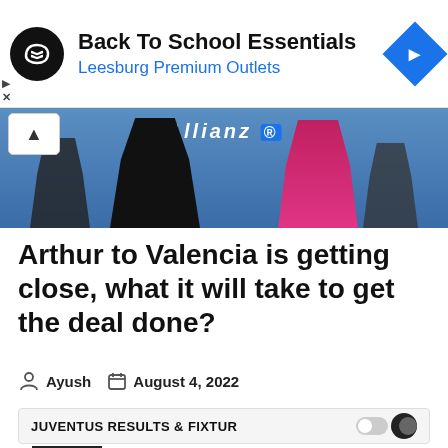[Figure (screenshot): Advertisement banner for Back To School Essentials at Leesburg Premium Outlets with infinity loop logo and blue diamond navigation icon]
[Figure (photo): Cropped photo of Juventus players in black and pink Juventus kits on a football pitch with Allianz stadium branding visible]
Arthur to Valencia is getting close, what it will take to get the deal done?
Ayush   August 4, 2022
JUVENTUS RESULTS & FIXTURES